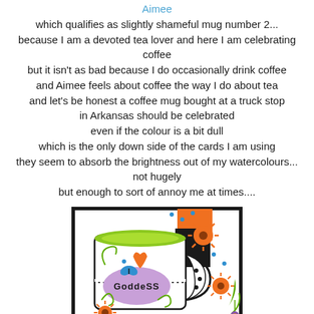Aimee
which qualifies as slightly shameful mug number 2...
because I am a devoted tea lover and here I am celebrating coffee
but it isn't as bad because I do occasionally drink coffee
and Aimee feels about coffee the way I do about tea
and let's be honest a coffee mug bought at a truck stop
in Arkansas should be celebrated
even if the colour is a bit dull
which is the only down side of the cards I am using
they seem to absorb the brightness out of my watercolours...
not hugely
but enough to sort of annoy me at times....
[Figure (illustration): A colourful illustrated mug card with the word GODDESS on a purple oval, decorated with orange sunflowers, blue butterflies, green swirls, and black polka-dot patterns on a white background with a black border.]